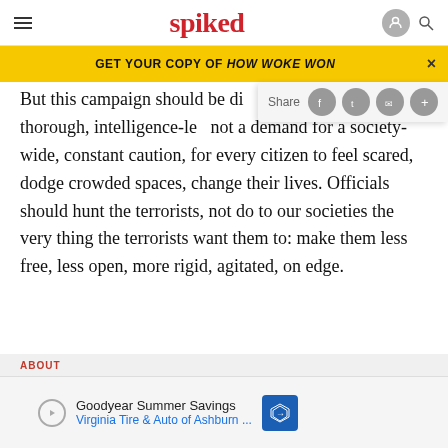spiked
GET YOUR COPY OF HOW WOKE WON
But this campaign should be the clean, thorough, intelligence-le... not a demand for a society-wide, constant caution, for every citizen to feel scared, dodge crowded spaces, change their lives. Officials should hunt the terrorists, not do to our societies the very thing the terrorists want them to: make them less free, less open, more rigid, agitated, on edge.
[Figure (screenshot): Advertisement: Goodyear Summer Savings, Virginia Tire & Auto of Ashburn]
ABOUT